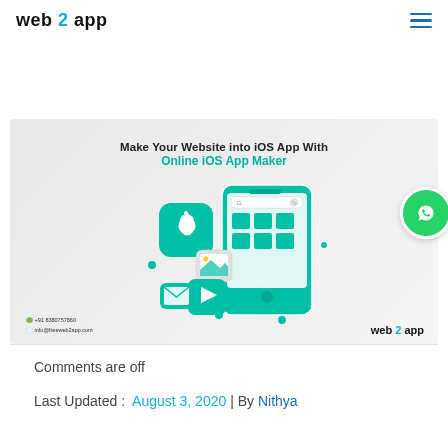web2app
[Figure (illustration): Promotional banner showing 'Make Your Website into iOS App With Online iOS App Maker' with teal-colored iOS app icon, smartphone, Play Store icon, mail icon, image icon, and web2app logo. Bottom left shows contact: +91 8380757860 and info@freeweb2app.com]
Comments are off
Last Updated :  August 3, 2020 | By Nithya